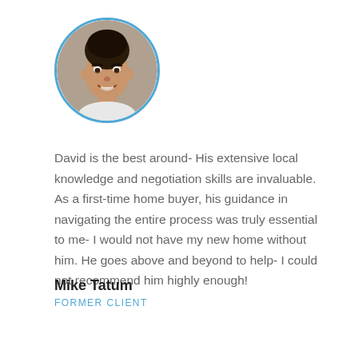[Figure (photo): Circular profile photo of a smiling man with short dark hair, wearing a light-colored shirt, with a blue circular border.]
David is the best around- His extensive local knowledge and negotiation skills are invaluable. As a first-time home buyer, his guidance in navigating the entire process was truly essential to me- I would not have my new home without him. He goes above and beyond to help- I could not recommend him highly enough!
Mike Tatum
FORMER CLIENT